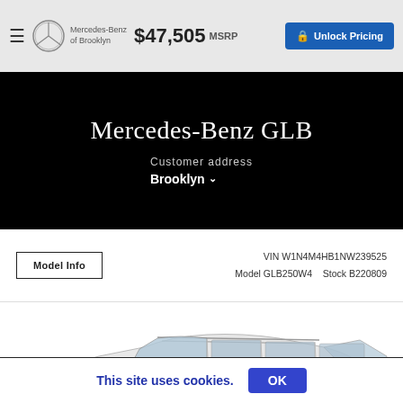≡  Mercedes-Benz of Brooklyn  $47,505 MSRP  Unlock Pricing
Mercedes-Benz GLB
Customer address
Brooklyn
Model Info  VIN W1N4M4HB1NW239525  Model GLB250W4  Stock B220809
[Figure (photo): Silver Mercedes-Benz GLB SUV side profile view on white background]
This site uses cookies.  OK